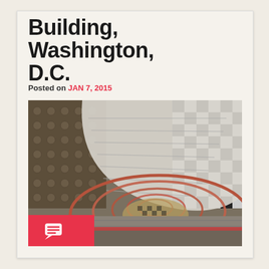Building, Washington, D.C.
Posted on JAN 7, 2015
[Figure (photo): Aerial/top-down view of a spiral staircase with copper/red handrails, white curved steps, ornate coffered ceiling on the left side, and black-and-white checkered floor visible at the bottom center and right. The staircase spirals downward in an oval shape. A comment icon badge (speech bubble with lines) in red/pink appears at the bottom left corner of the photo.]